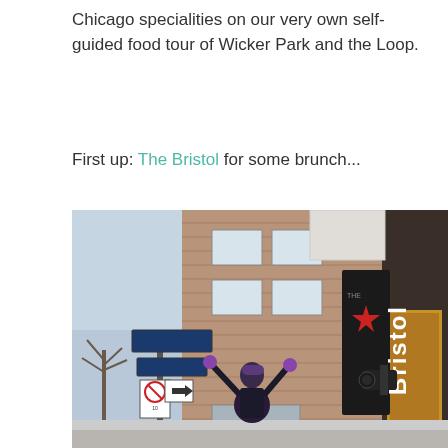Chicago specialities on our very own self-guided food tour of Wicker Park and the Loop.
First up: The Bristol for some brunch...
[Figure (photo): Street-level photograph of The Bristol restaurant in Chicago. A person stands on the sidewalk with arms raised beneath a large vertical sign reading 'The Bristol' with a red star logo. The building is red brick, multi-story, with street signs visible on a pole to the left.]